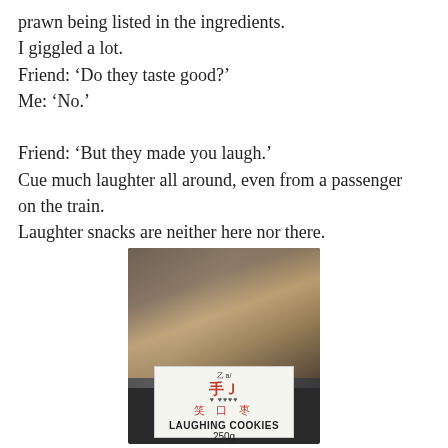prawn being listed in the ingredients.
I giggled a lot.
Friend: ‘Do they taste good?’
Me: ‘No.’
Friend: ‘But they made you laugh.’
Cue much laughter all around, even from a passenger on the train.
Laughter snacks are neither here nor there.
[Figure (photo): A bag of cookies with a label reading LAUGHING COOKIES 250g, with Chinese characters and a decorative logo on the label, displayed on a dark background.]